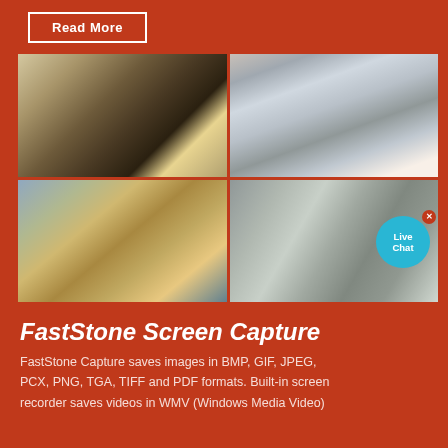Read More
[Figure (photo): Four-panel collage of industrial/mining equipment: top-left shows heavy machinery with sun glare, top-right shows a mobile crushing/screening plant on a trailer, bottom-left shows a mining site with conveyors and processing equipment in an arid landscape, bottom-right shows the interior of industrial machinery/drum.]
FastStone Screen Capture
FastStone Capture saves images in BMP, GIF, JPEG, PCX, PNG, TGA, TIFF and PDF formats. Built-in screen recorder saves videos in WMV (Windows Media Video)